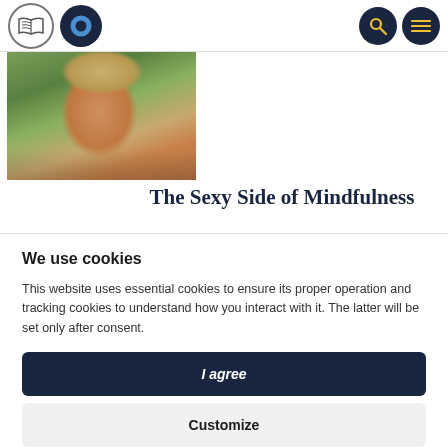Navigation bar with logo icons and search/menu buttons
[Figure (photo): Photo of a smiling woman with long blonde hair outdoors with green foliage background]
The Sexy Side of Mindfulness
We use cookies
This website uses essential cookies to ensure its proper operation and tracking cookies to understand how you interact with it. The latter will be set only after consent.
I agree
Customize